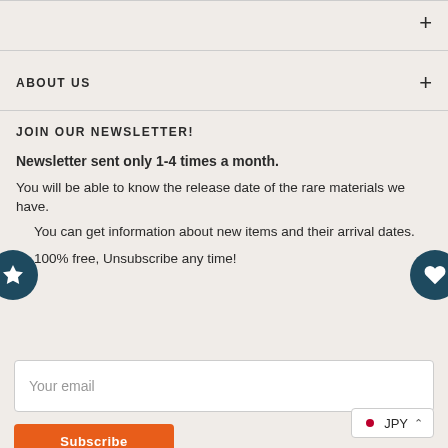ABOUT US
JOIN OUR NEWSLETTER!
Newsletter sent only 1-4 times a month.
You will be able to know the release date of the rare materials we have.
You can get information about new items and their arrival dates.
100% free, Unsubscribe any time!
Your email
Subscribe
JPY